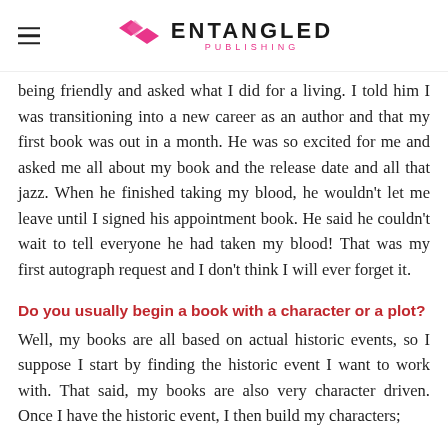ENTANGLED PUBLISHING
being friendly and asked what I did for a living. I told him I was transitioning into a new career as an author and that my first book was out in a month. He was so excited for me and asked me all about my book and the release date and all that jazz. When he finished taking my blood, he wouldn't let me leave until I signed his appointment book. He said he couldn't wait to tell everyone he had taken my blood! That was my first autograph request and I don't think I will ever forget it.
Do you usually begin a book with a character or a plot?
Well, my books are all based on actual historic events, so I suppose I start by finding the historic event I want to work with. That said, my books are also very character driven. Once I have the historic event, I then build my characters;